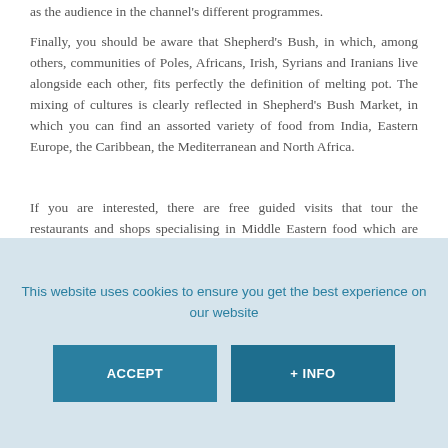as the audience in the channel's different programmes.
Finally, you should be aware that Shepherd's Bush, in which, among others, communities of Poles, Africans, Irish, Syrians and Iranians live alongside each other, fits perfectly the definition of melting pot. The mixing of cultures is clearly reflected in Shepherd's Bush Market, in which you can find an assorted variety of food from India, Eastern Europe, the Caribbean, the Mediterranean and North Africa.
If you are interested, there are free guided visits that tour the restaurants and shops specialising in Middle Eastern food which are lined up along Uxbridge Road. Apart from being an enriching experience, you can try delicious Arab sweets and culinary
This website uses cookies to ensure you get the best experience on our website
ACCEPT
+ INFO